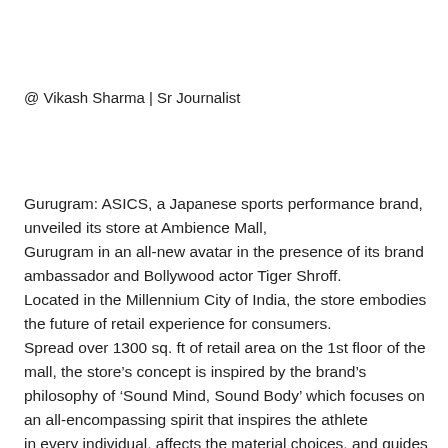@ Vikash Sharma | Sr Journalist
Gurugram: ASICS, a Japanese sports performance brand, unveiled its store at Ambience Mall, Gurugram in an all-new avatar in the presence of its brand ambassador and Bollywood actor Tiger Shroff. Located in the Millennium City of India, the store embodies the future of retail experience for consumers. Spread over 1300 sq. ft of retail area on the 1st floor of the mall, the store’s concept is inspired by the brand’s philosophy of ‘Sound Mind, Sound Body’ which focuses on an all-encompassing spirit that inspires the athlete in every individual, affects the material choices, and guides the